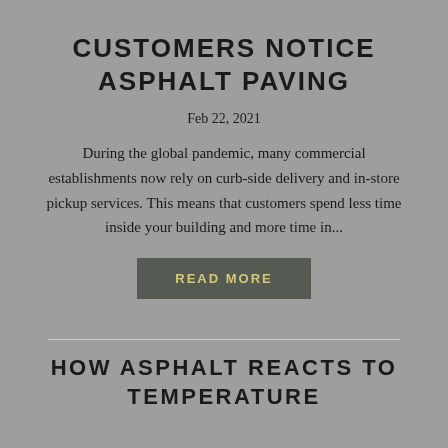CUSTOMERS NOTICE ASPHALT PAVING
Feb 22, 2021
During the global pandemic, many commercial establishments now rely on curb-side delivery and in-store pickup services. This means that customers spend less time inside your building and more time in...
READ MORE
HOW ASPHALT REACTS TO TEMPERATURE